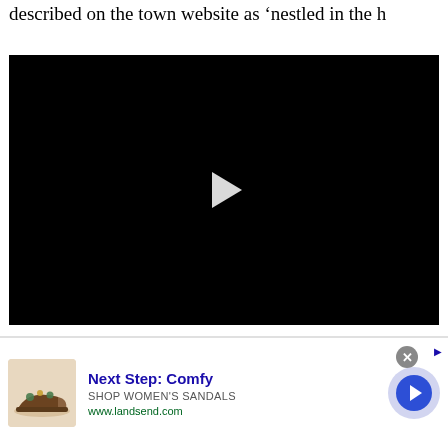described on the town website as ‘nestled in the h
[Figure (other): Embedded video player with black background and white play button triangle in center]
3 hours a day, 5 days a week, creates pollution and is a cancer risk.
[Figure (infographic): Advertisement banner for Lands End women's sandals: Next Step: Comfy, SHOP WOMEN'S SANDALS, www.landsend.com, with shoe image and blue arrow button]